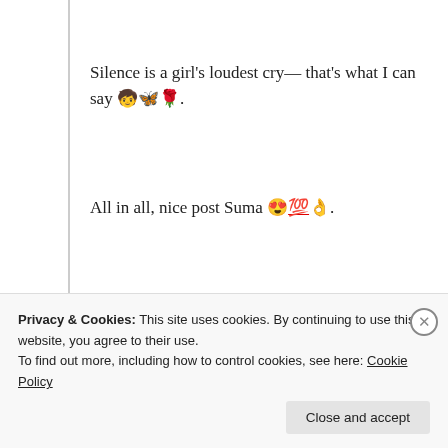Silence is a girl's loudest cry— that's what I can say 🧒🦋🌹.
All in all, nice post Suma 😍💯👌.
★ Liked by 4 people
Log in to Reply
Privacy & Cookies: This site uses cookies. By continuing to use this website, you agree to their use. To find out more, including how to control cookies, see here: Cookie Policy
Close and accept